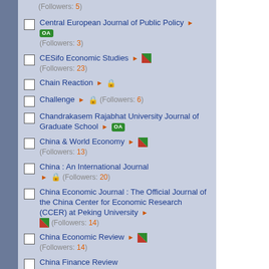(Followers: 5)
Central European Journal of Public Policy ► OA (Followers: 3)
CESifo Economic Studies ► [hybrid] (Followers: 23)
Chain Reaction ► [lock]
Challenge ► [lock] (Followers: 6)
Chandrakasem Rajabhat University Journal of Graduate School ► OA
China & World Economy ► [hybrid] (Followers: 13)
China : An International Journal ► [lock] (Followers: 20)
China Economic Journal : The Official Journal of the China Center for Economic Research (CCER) at Peking University ► [hybrid] (Followers: 14)
China Economic Review ► [hybrid] (Followers: 14)
China Finance Review